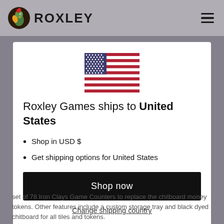ROXLEY
[Figure (illustration): US flag emoji/icon centered in modal]
Roxley Games ships to United States
Shop in USD $
Get shipping options for United States
Shop now
Change shipping country
set of 78 Iron Clays Game Counters to replace the chitboard money tokens.  Other features include a custom storage tray and black dyed chitboard for all tiles and tokens.